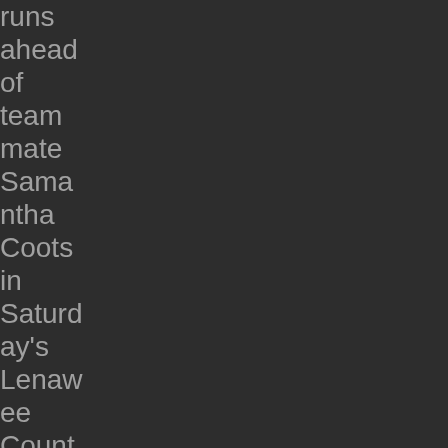runs ahead of teammate Samantha Cootsin Saturday's Lenawee County Preview at Tecumseh High School, Photo by Jeff Papworth